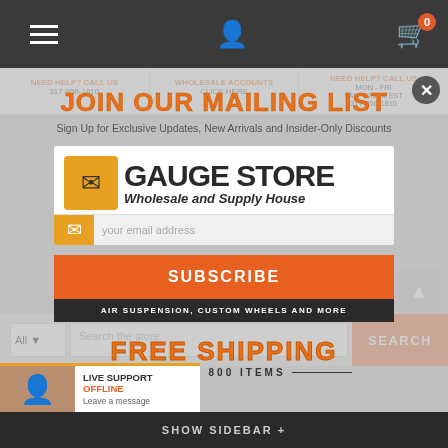[Figure (screenshot): E-commerce website screenshot showing navigation bar with hamburger menu, user icon, and cart with 0 items]
NEED HELP? CALL US
317-856-1810
WHOLESALE ACCOUNTS
CLICK HERE
NEED HELP? CALL US
MON - FRI
9AM TO 5PM EST
317-856-1810
JOIN OUR MAILING LIST
Sign Up for Exclusive Updates, New Arrivals and Insider-Only Discounts
[Figure (logo): 8 Gauge Store logo with orange icon and text 'GAUGE STORE Wholesale and Supply House']
your email address
SUBSCRIBE
AIR SUSPENSION, CUSTOM WHEELS AND MORE
FREE SHIPPING
OVER 800 ITEMS
Search the store
SEARCH
LIVE SUPPORT
OFFLINE
Leave a message
ccessories
40mm 72.62mm
SHOW SIDEBAR +